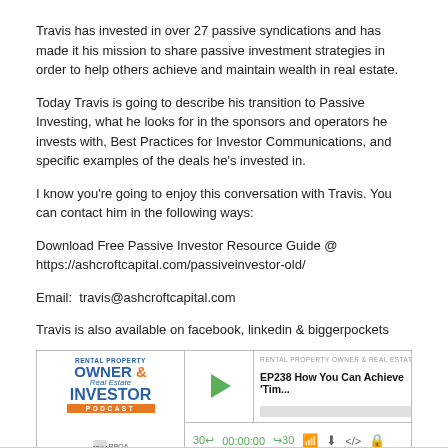Travis has invested in over 27 passive syndications and has made it his mission to share passive investment strategies in order to help others achieve and maintain wealth in real estate.
Today Travis is going to describe his transition to Passive Investing, what he looks for in the sponsors and operators he invests with, Best Practices for Investor Communications, and specific examples of the deals he's invested in.
I know you're going to enjoy this conversation with Travis. You can contact him in the following ways:
Download Free Passive Investor Resource Guide @ https://ashcroftcapital.com/passiveinvestor-old/
Email:  travis@ashcroftcapital.com
Travis is also available on facebook, linkedin & biggerpockets
[Figure (screenshot): Podcast player widget for 'Rental Property Owner & Real Estate Investor Podcast' showing episode EP238 How You Can Achieve 'Tim...' with play button, progress bar, and playback controls showing 00:00:00 time]
Download this Episode